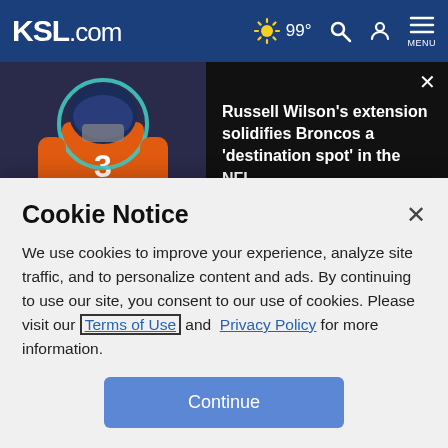KSL.com — 99° weather, search, account, menu
[Figure (screenshot): Video thumbnail of football player #3 in orange Denver Broncos uniform with teal circle overlay, alongside text: Russell Wilson's extension solidifies Broncos a 'destination spot' in the NFL | THE HERD]
Anderson, Capps win in NHRA US Nationals at Indy
Rays stop Red Sox 4-3 to stay 5 games back of Yankees
(truncated headline)
Cookie Notice
We use cookies to improve your experience, analyze site traffic, and to personalize content and ads. By continuing to use our site, you consent to our use of cookies. Please visit our Terms of Use and Privacy Policy for more information.
Continue